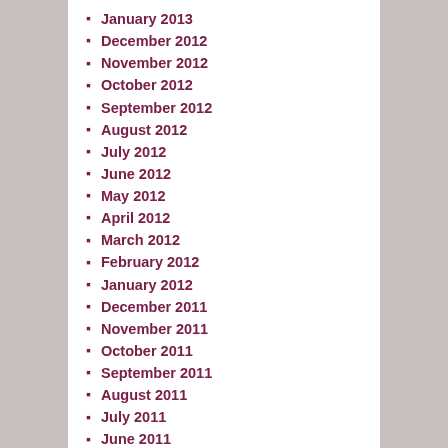January 2013
December 2012
November 2012
October 2012
September 2012
August 2012
July 2012
June 2012
May 2012
April 2012
March 2012
February 2012
January 2012
December 2011
November 2011
October 2011
September 2011
August 2011
July 2011
June 2011
May 2011